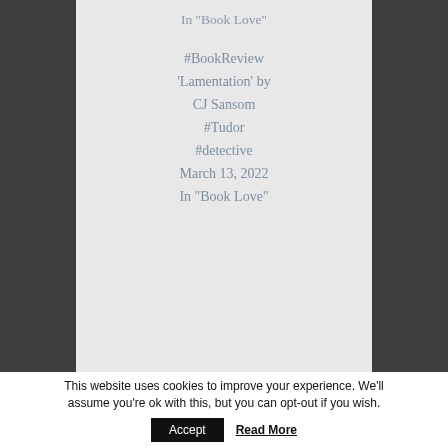In "Book Love"
#BookReview 'Lamentation' by CJ Sansom #Tudor #detective March 13, 2022 In "Book Love"
This website uses cookies to improve your experience. We'll assume you're ok with this, but you can opt-out if you wish.
Accept
Read More